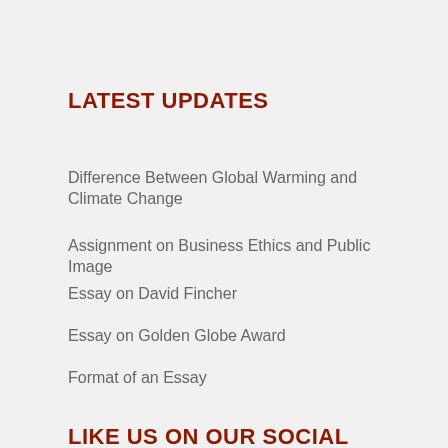LATEST UPDATES
Difference Between Global Warming and Climate Change
Assignment on Business Ethics and Public Image
Essay on David Fincher
Essay on Golden Globe Award
Format of an Essay
LIKE US ON OUR SOCIAL
[Figure (illustration): Partial view of a cartoon social media icon — a circular illustration with blue and purple colors, showing a stylized character or mascot, cropped at the bottom of the page.]